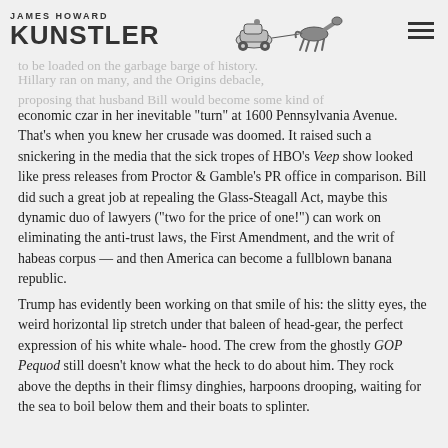JAMES HOWARD KUNSTLER
to be loaded on the garbage barge of history. Hillary ran on many, and the Origins debacle, proposing that husband Bill would become some kind of economic czar in her inevitable “turn” at 1600 Pennsylvania Avenue. That’s when you knew her crusade was doomed. It raised such a snickering in the media that the sick tropes of HBO’s Veep show looked like press releases from Proctor & Gamble’s PR office in comparison. Bill did such a great job at repealing the Glass-Steagall Act, maybe this dynamic duo of lawyers (“two for the price of one!”) can work on eliminating the anti-trust laws, the First Amendment, and the writ of habeas corpus — and then America can become a fullblown banana republic.
Trump has evidently been working on that smile of his: the slitty eyes, the weird horizontal lip stretch under that baleen of head-gear, the perfect expression of his white whalehood. The crew from the ghostly GOP Pequod still doesn’t know what the heck to do about him. They rock above the depths in their flimsy dinghies, harpoons drooping, waiting for the sea to boil below them and their boats to splinter.